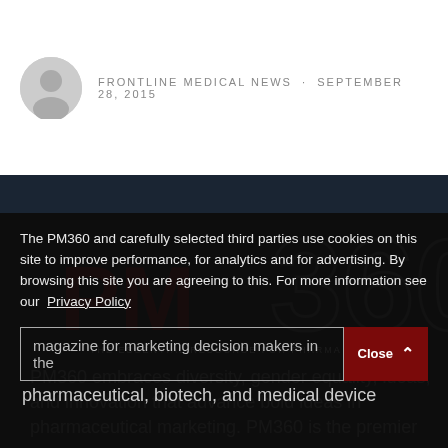FRONTLINE MEDICAL NEWS · SEPTEMBER 28, 2015
[Figure (logo): PM360 logo with large 360 numeral and 'PM' in dark red, tagline: THE ESSENTIAL RESOURCE FOR PHARMA MARKETERS]
The PM360 and carefully selected third parties use cookies on this site to improve performance, for analytics and for advertising. By browsing this site you are agreeing to this. For more information see our Privacy Policy
PM360 embraces diversity, gender equality, ideas, and innovation that advance bold ideas in pharmaceutical marketing. PM360 is the premier magazine for marketing decision makers in the pharmaceutical, biotech, and medical device
Close